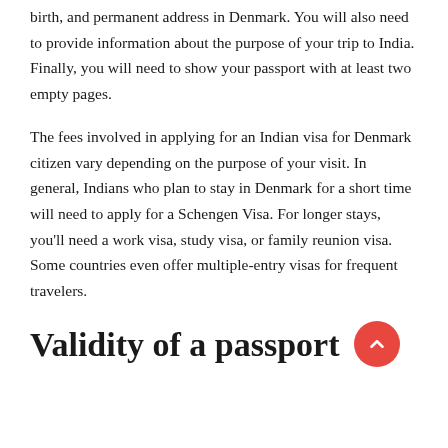birth, and permanent address in Denmark. You will also need to provide information about the purpose of your trip to India. Finally, you will need to show your passport with at least two empty pages.
The fees involved in applying for an Indian visa for Denmark citizen vary depending on the purpose of your visit. In general, Indians who plan to stay in Denmark for a short time will need to apply for a Schengen Visa. For longer stays, you'll need a work visa, study visa, or family reunion visa. Some countries even offer multiple-entry visas for frequent travelers.
Validity of a passport